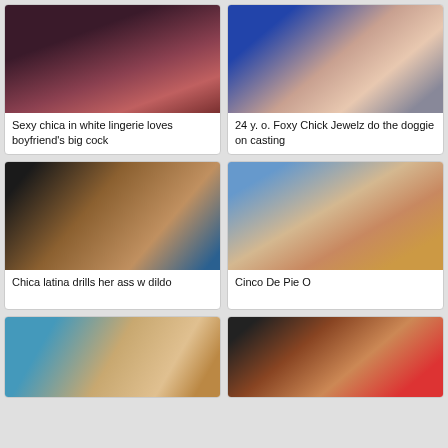[Figure (photo): Thumbnail image for video 1]
Sexy chica in white lingerie loves boyfriend's big cock
[Figure (photo): Thumbnail image for video 2]
24 y. o. Foxy Chick Jewelz do the doggie on casting
[Figure (photo): Thumbnail image for video 3]
Chica latina drills her ass w dildo
[Figure (photo): Thumbnail image for video 4]
Cinco De Pie O
[Figure (photo): Thumbnail image for video 5 (partial)]
[Figure (photo): Thumbnail image for video 6 (partial)]